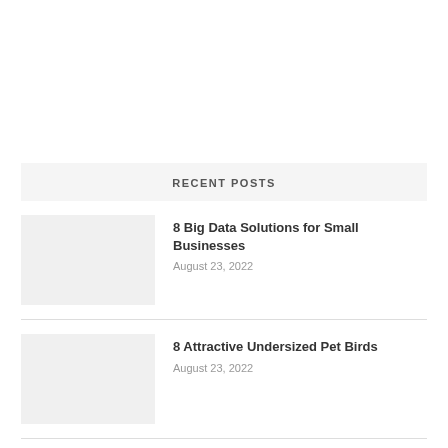RECENT POSTS
8 Big Data Solutions for Small Businesses
August 23, 2022
8 Attractive Undersized Pet Birds
August 23, 2022